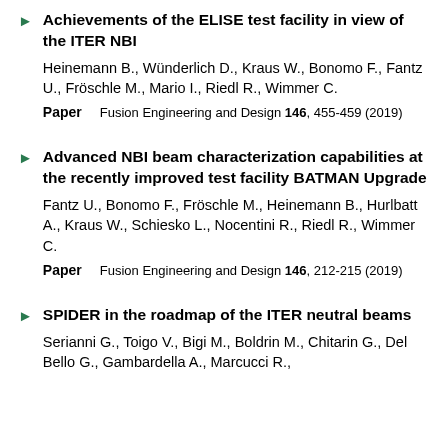Achievements of the ELISE test facility in view of the ITER NBI
Heinemann B., Wünderlich D., Kraus W., Bonomo F., Fantz U., Fröschle M., Mario I., Riedl R., Wimmer C.
Paper   Fusion Engineering and Design 146, 455-459 (2019)
Advanced NBI beam characterization capabilities at the recently improved test facility BATMAN Upgrade
Fantz U., Bonomo F., Fröschle M., Heinemann B., Hurlbatt A., Kraus W., Schiesko L., Nocentini R., Riedl R., Wimmer C.
Paper   Fusion Engineering and Design 146, 212-215 (2019)
SPIDER in the roadmap of the ITER neutral beams
Serianni G., Toigo V., Bigi M., Boldrin M., Chitarin G., Del Bello G., Gambardella A., Marcucci R., ...